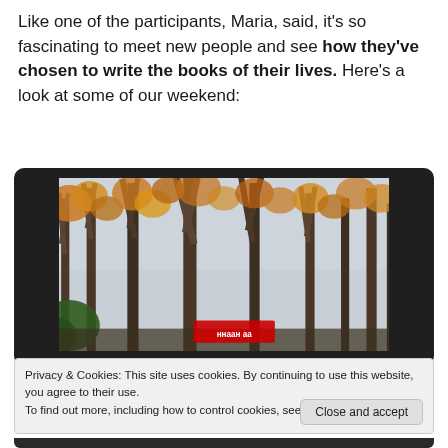Like one of the participants, Maria, said, it's so fascinating to meet new people and see how they've chosen to write the books of their lives. Here's a look at some of our weekend:
[Figure (photo): Photograph of autumn trees with mostly bare branches and some orange/yellow leaves, viewed from below. A partially visible red sign is at the bottom of the image. The photo is displayed in a dark/black frame resembling a tablet or video player.]
Privacy & Cookies: This site uses cookies. By continuing to use this website, you agree to their use.
To find out more, including how to control cookies, see here: Cookie Policy
Close and accept